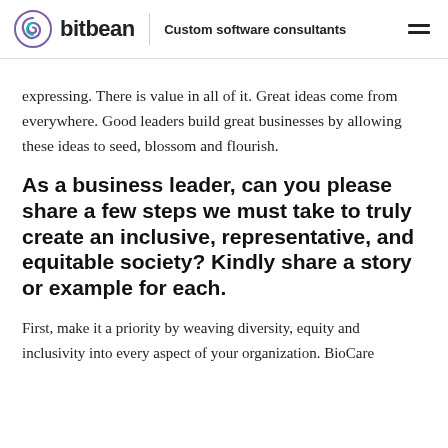bitbean | Custom software consultants
expressing. There is value in all of it. Great ideas come from everywhere. Good leaders build great businesses by allowing these ideas to seed, blossom and flourish.
As a business leader, can you please share a few steps we must take to truly create an inclusive, representative, and equitable society? Kindly share a story or example for each.
First, make it a priority by weaving diversity, equity and inclusivity into every aspect of your organization. BioCare